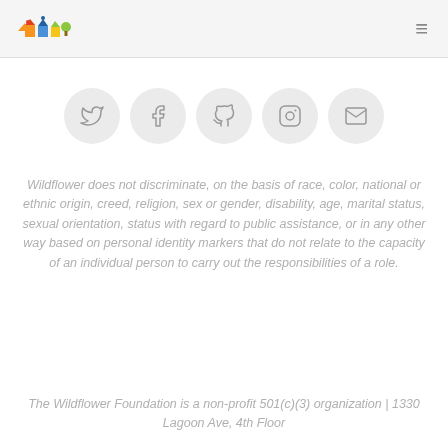[Wildflower logo] [hamburger menu]
[Figure (other): Row of five social media icon circles: Twitter, Facebook, GitHub, Instagram, Email]
Wildflower does not discriminate, on the basis of race, color, national or ethnic origin, creed, religion, sex or gender, disability, age, marital status, sexual orientation, status with regard to public assistance, or in any other way based on personal identity markers that do not relate to the capacity of an individual person to carry out the responsibilities of a role.
The Wildflower Foundation is a non-profit 501(c)(3) organization | 1330 Lagoon Ave, 4th Floor